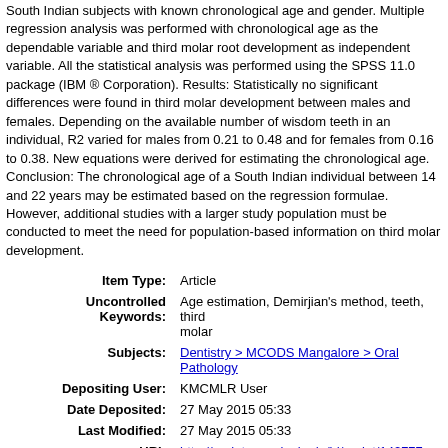South Indian subjects with known chronological age and gender. Multiple regression analysis was performed with chronological age as the dependable variable and third molar root development as independent variable. All the statistical analysis was performed using the SPSS 11.0 package (IBM ® Corporation). Results: Statistically no significant differences were found in third molar development between males and females. Depending on the available number of wisdom teeth in an individual, R2 varied for males from 0.21 to 0.48 and for females from 0.16 to 0.38. New equations were derived for estimating the chronological age. Conclusion: The chronological age of a South Indian individual between 14 and 22 years may be estimated based on the regression formulae. However, additional studies with a larger study population must be conducted to meet the need for population-based information on third molar development.
| Field | Value |
| --- | --- |
| Item Type: | Article |
| Uncontrolled Keywords: | Age estimation, Demirjian's method, teeth, third molar |
| Subjects: | Dentistry > MCODS Mangalore > Oral Pathology |
| Depositing User: | KMCMLR User |
| Date Deposited: | 27 May 2015 05:33 |
| Last Modified: | 27 May 2015 05:33 |
| URI: | http://eprints.manipal.edu/id/eprint/142777 |
Actions (login required)
View Item